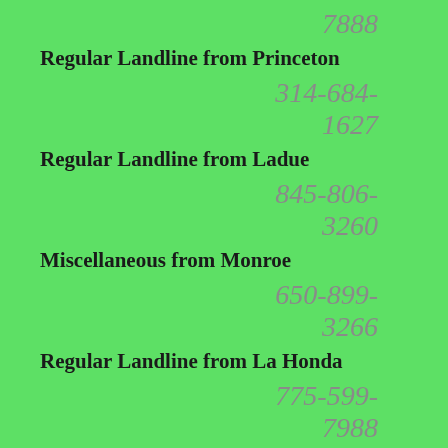7888
Regular Landline from Princeton
314-684-1627
Regular Landline from Ladue
845-806-3260
Miscellaneous from Monroe
650-899-3266
Regular Landline from La Honda
775-599-7988